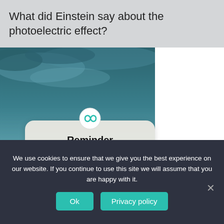What did Einstein say about the photoelectric effect?
[Figure (photo): Photo of a cloudy teal sky with a silhouetted figure, overlaid with a 'Reminder' notification card reading: It's time for a new chapter. Get a cheap and quick divorce online. The card has a small infinity/link icon at the top.]
We use cookies to ensure that we give you the best experience on our website. If you continue to use this site we will assume that you are happy with it.